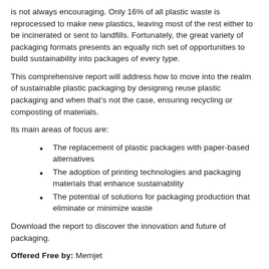is not always encouraging. Only 16% of all plastic waste is reprocessed to make new plastics, leaving most of the rest either to be incinerated or sent to landfills. Fortunately, the great variety of packaging formats presents an equally rich set of opportunities to build sustainability into packages of every type.
This comprehensive report will address how to move into the realm of sustainable plastic packaging by designing reuse plastic packaging and when that’s not the case, ensuring recycling or composting of materials.
Its main areas of focus are:
The replacement of plastic packages with paper-based alternatives
The adoption of printing technologies and packaging materials that enhance sustainability
The potential of solutions for packaging production that eliminate or minimize waste
Download the report to discover the innovation and future of packaging.
Offered Free by: Memjet